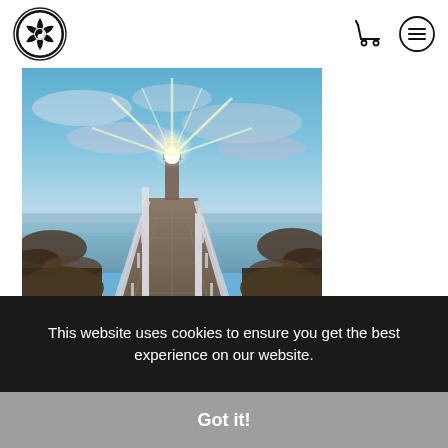Photography website header with logo and navigation icons (cart, menu)
[Figure (photo): A white wooden boardwalk/pier leading toward a lighthouse at dusk or dawn with dramatic sky and water on both sides. The lighthouse emits a bright starburst of light. Rocky shoreline visible on either side of the boardwalk.]
"to photograph it"
This website uses cookies to ensure you get the best experience on our website.
Got it!